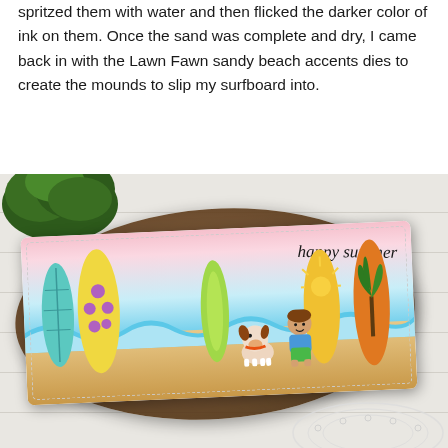spritzed them with water and then flicked the darker color of ink on them. Once the sand was complete and dry, I came back in with the Lawn Fawn sandy beach accents dies to create the mounds to slip my surfboard into.
[Figure (photo): A handmade beach-themed greeting card with surfboards, a cartoon boy, a dog, 'happy summer' text in cursive, displayed on a wooden slab with a green plant and white doily on a white wood plank background.]